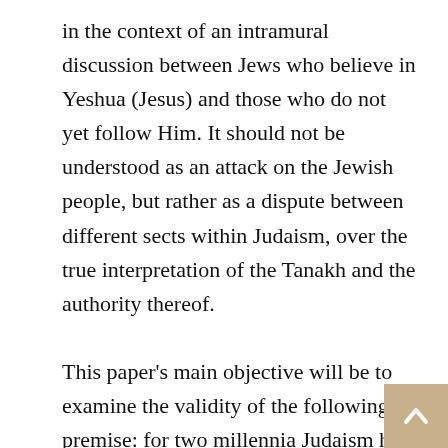in the context of an intramural discussion between Jews who believe in Yeshua (Jesus) and those who do not yet follow Him. It should not be understood as an attack on the Jewish people, but rather as a dispute between different sects within Judaism, over the true interpretation of the Tanakh and the authority thereof.

This paper's main objective will be to examine the validity of the following premise: for two millennia Judaism has been held hostage under the government and philosophy of one distinct sect, namely the Pharisees and their heirs—the rabbis. Since the destruction of the